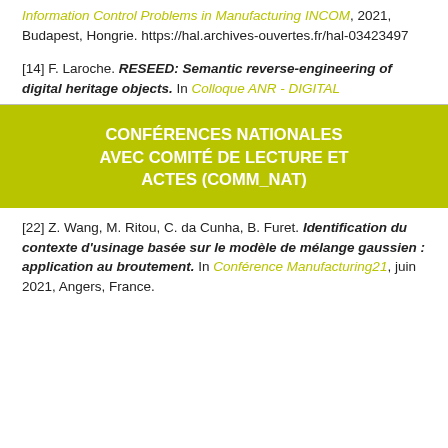Information Control Problems in Manufacturing INCOM, 2021, Budapest, Hongrie. https://hal.archives-ouvertes.fr/hal-03423497
[14] F. Laroche. RESEED: Semantic reverse-engineering of digital heritage objects. In Colloque ANR - DIGITAL
CONFÉRENCES NATIONALES AVEC COMITÉ DE LECTURE ET ACTES (COMM_NAT)
[22] Z. Wang, M. Ritou, C. da Cunha, B. Furet. Identification du contexte d'usinage basée sur le modèle de mélange gaussien : application au broutement. In Conférence Manufacturing21, juin 2021, Angers, France.